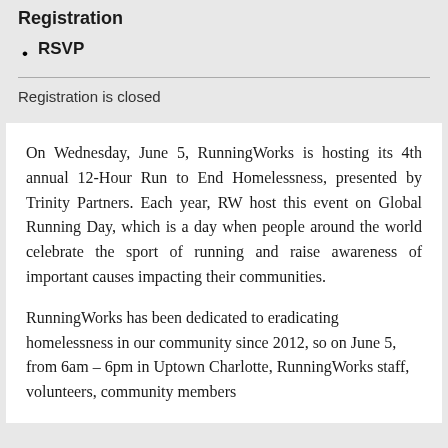Registration
RSVP
Registration is closed
On Wednesday, June 5, RunningWorks is hosting its 4th annual 12-Hour Run to End Homelessness, presented by Trinity Partners. Each year, RW host this event on Global Running Day, which is a day when people around the world celebrate the sport of running and raise awareness of important causes impacting their communities.
RunningWorks has been dedicated to eradicating homelessness in our community since 2012, so on June 5, from 6am – 6pm in Uptown Charlotte, RunningWorks staff, volunteers, community members